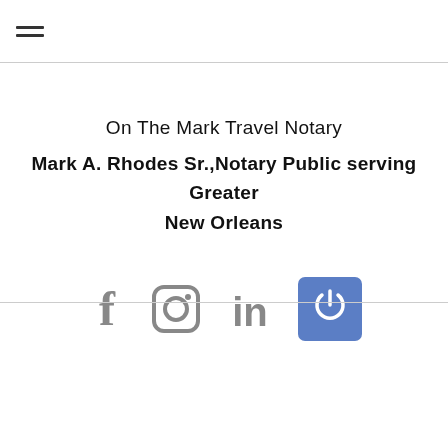≡
On The Mark Travel Notary
Mark A. Rhodes Sr.,Notary Public serving Greater New Orleans
[Figure (infographic): Social media icons: Facebook (f), Instagram (camera square), LinkedIn (in), and a blue square with a power/user icon]